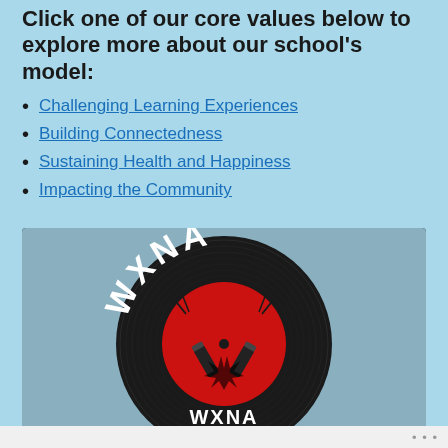Click one of our core values below to explore more about our school's model:
Challenging Learning Experiences
Building Connectedness
Sustaining Health and Happiness
Impacting the Community
[Figure (logo): WXNA vinyl record logo: a black vinyl record with white text 'WXNA' arched across the top, and a red circular label in the center featuring two spray cans crossed and the text 'WXNA' at the bottom.]
...